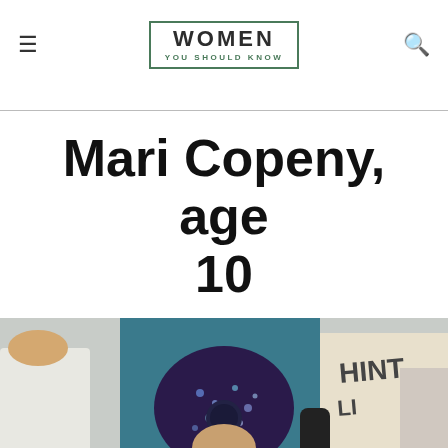WOMEN YOU SHOULD KNOW
Mari Copeny, age 10
[Figure (photo): Photo of Mari Copeny at a protest, wearing a galaxy-print hat and teal beanie, holding a sign that partially reads 'HINT', surrounded by other protesters outdoors in cold weather.]